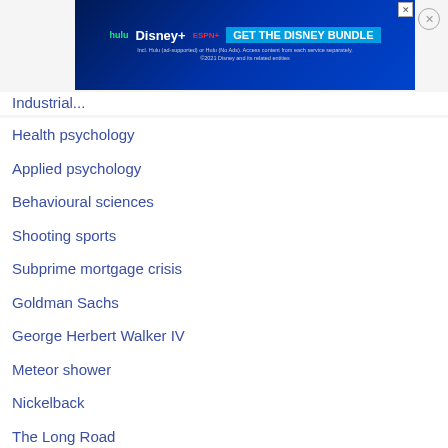[Figure (other): Advertisement banner for Disney Bundle featuring Hulu, Disney+, and ESPN+ logos with 'GET THE DISNEY BUNDLE' call to action]
Industrial...
Health psychology
Applied psychology
Behavioural sciences
Shooting sports
Subprime mortgage crisis
Goldman Sachs
George Herbert Walker IV
Meteor shower
Nickelback
The Long Road
Krabbe disease
Master of Business Administration
Wharton School of the University of Pennsylvania